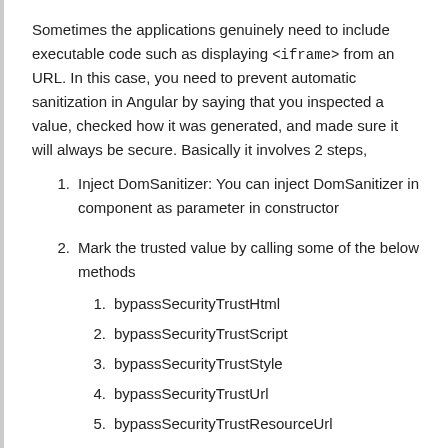Sometimes the applications genuinely need to include executable code such as displaying <iframe> from an URL. In this case, you need to prevent automatic sanitization in Angular by saying that you inspected a value, checked how it was generated, and made sure it will always be secure. Basically it involves 2 steps,
1. Inject DomSanitizer: You can inject DomSanitizer in component as parameter in constructor
2. Mark the trusted value by calling some of the below methods
1. bypassSecurityTrustHtml
2. bypassSecurityTrustScript
3. bypassSecurityTrustStyle
4. bypassSecurityTrustUrl
5. bypassSecurityTrustResourceUrl
For example,The usage of dangerous url to trusted url